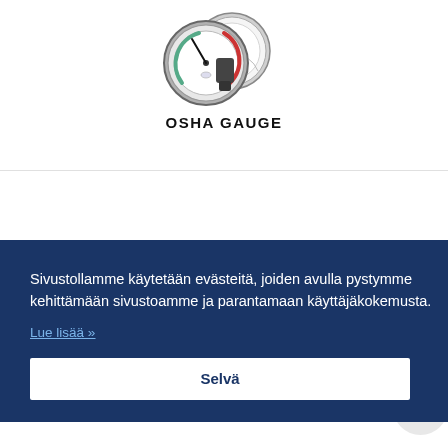[Figure (photo): Two pressure gauges (OSHA gauges) photographed together against white background]
OSHA GAUGE
Sivustollamme käytetään evästeitä, joiden avulla pystymme kehittämään sivustoamme ja parantamaan käyttäjäkokemusta.
Lue lisää »
Selvä